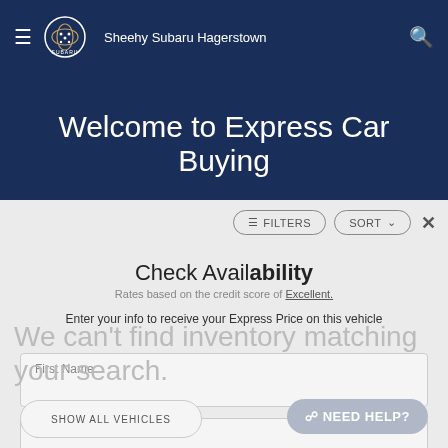Sheehy Subaru Hagerstown
Welcome to Express Car Buying
[Figure (screenshot): Filters and Sort buttons with close X icon]
Check Availability
Rates based on the credit score of Excellent.
Enter your info to receive your Express Price on this vehicle
We can't find inventory matching your search.
First Name
Last Name
SHOW ALL VEHICLES
NEED HELP?